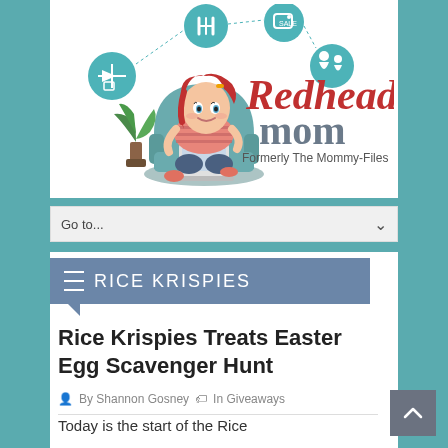[Figure (logo): Redhead Mom blog logo - cartoon redhead woman sitting in teal armchair with laptop, surrounded by teal circular icons (food, travel, deals, family). Text reads 'Redhead mom - Formerly The Mommy-Files']
Go to...
RICE KRISPIES
Rice Krispies Treats Easter Egg Scavenger Hunt
By Shannon Gosney  In Giveaways
Today is the start of the Rice